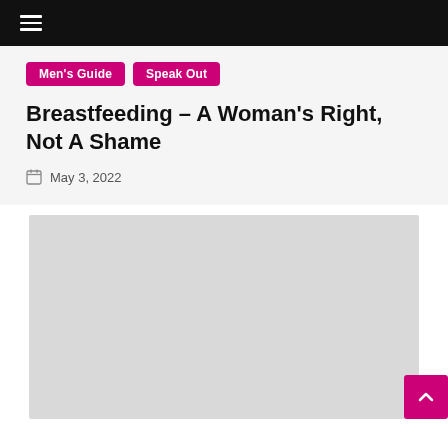☰ (navigation menu)
Men's Guide
Speak Out
Breastfeeding – A Woman's Right, Not A Shame
May 3, 2022
[Figure (photo): Gray placeholder image area for article photo]